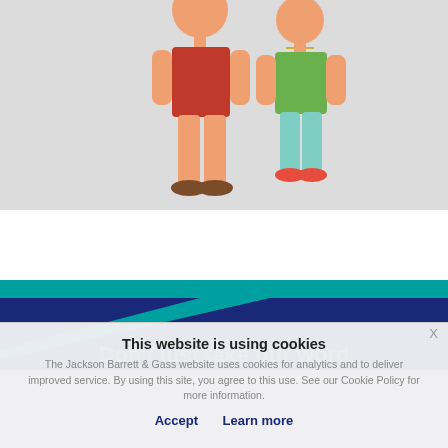[Figure (illustration): Two cartoon figures: one taller in red top and brown shoes, one shorter in green top, teal pants and orange shoes, against a light grey background]
[Figure (infographic): Teal and dark navy blue decorative banner bar with teal triangle accent]
Don't just take our word
This website is using cookies
The Jackson Barrett & Gass website uses cookies for analytics and to deliver improved service. By using this site, you agree to this use. See our Cookie Policy for more information.
Accept   Learn more